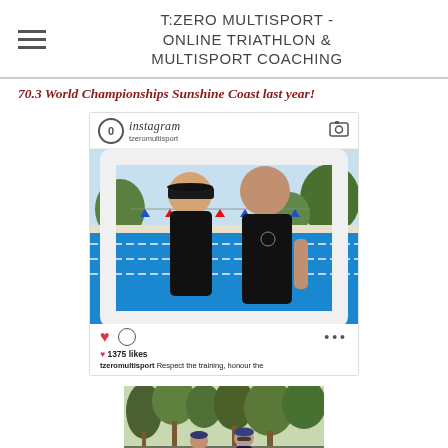T:ZERO MULTISPORT - ONLINE TRIATHLON & MULTISPORT COACHING
70.3 World Championships Sunshine Coast last year!
[Figure (photo): Instagram post showing two people holding an Instagram frame prop in front of a swimming pool. The post shows 1375 likes and caption 'tzeromultisport Respect the training, honour the...']
[Figure (photo): Photo of cyclists with trees/foliage in background, partially visible at bottom of page]